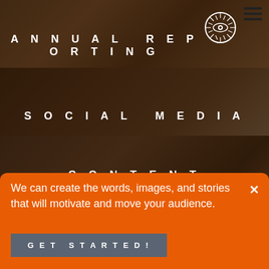[Figure (photo): Dark tinted photo collage background showing people working with design documents and presentations, split into three horizontal panels]
ANNUAL REPORTING
SOCIAL MEDIA
CONTENT
We can create the words, images, and stories that will motivate and move your audience.
GET STARTED!